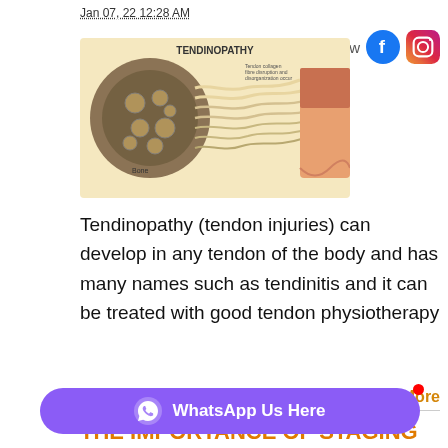Jan 07, 22 12:28 AM
[Figure (illustration): Medical illustration of tendinopathy showing tendon cross-section and labeled anatomy with text 'TENDINOPATHY']
Tendinopathy (tendon injuries) can develop in any tendon of the body and has many names such as tendinitis and it can be treated with good tendon physiotherapy
Read More
THE IMPORTANCE OF STAGING AND COMPRESSION IN TENDINOPATHY PHYSIO
Dec 15, 21 01:47 AM
[Figure (illustration): Medical illustration showing Biceps Tendinitis and Normal Anatomy of the long head]
[Figure (other): WhatsApp Us Here button with purple background]